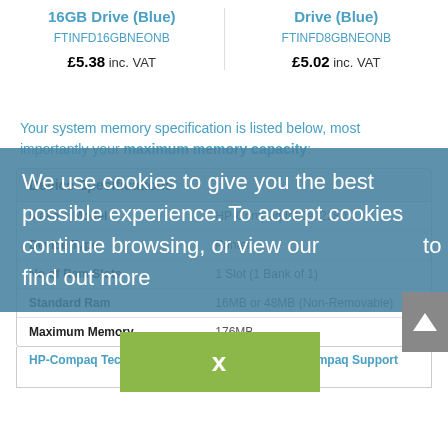16GB Drive (Blue)
FTINFD16GBNEONB
£5.38 inc. VAT
Drive (Blue)
FTINFD8GBNEONB
£5.02 inc. VAT
Your system memory specification is listed below, most importantly your maximum memory capacity:
|  |  |
| --- | --- |
| Make + Model | HP-Compaq InkJet 2280 |
| Device Type | Printer |
| No of Ram Slots | 1 Slot (1 Bank of 1) |
| Standard Ram | 16MB or 48MB (Non-Removable) |
| Maximum Memory | 176MB |
HP-Compaq Tech Support
Official HP-Compaq Support Link
We use cookies to give you the best possible experience. To accept cookies continue browsing, or view our to find out more